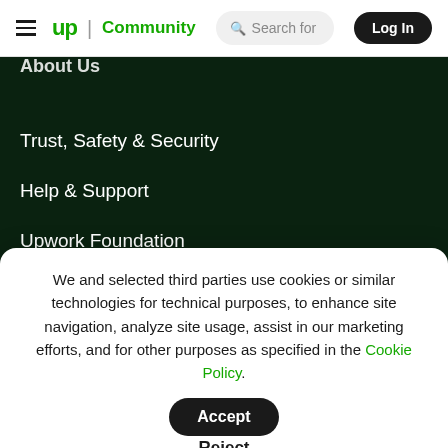up Community | Search for | Log In
About Us
Trust, Safety & Security
Help & Support
Upwork Foundation
Terms of Service
We and selected third parties use cookies or similar technologies for technical purposes, to enhance site navigation, analyze site usage, assist in our marketing efforts, and for other purposes as specified in the Cookie Policy.
Accept
Reject